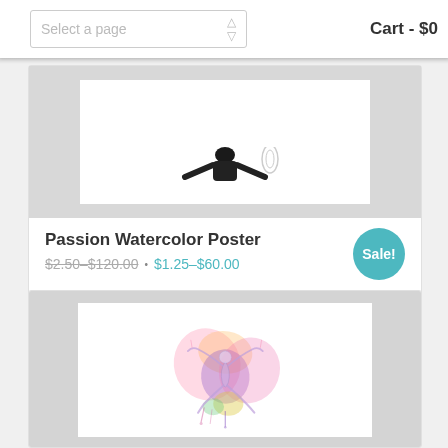Select a page | Cart - $0
[Figure (photo): Partially visible product image of Passion Watercolor Poster - dark silhouette figure against white background, cropped at top]
Passion Watercolor Poster
$2.50–$120.00 • $1.25–$60.00
Sale!
[Figure (illustration): Watercolor poster showing a yoga/acrobatics pose figure rendered in pink, purple, orange and yellow watercolor splashes on white background]